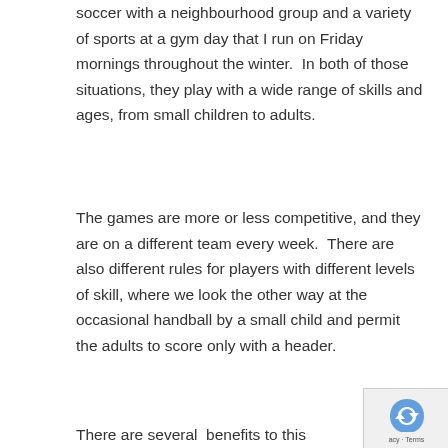soccer with a neighbourhood group and a variety of sports at a gym day that I run on Friday mornings throughout the winter.  In both of those situations, they play with a wide range of skills and ages, from small children to adults.
The games are more or less competitive, and they are on a different team every week.  There are also different rules for players with different levels of skill, where we look the other way at the occasional handball by a small child and permit the adults to score only with a header.
There are several  benefits to this
[Figure (other): reCAPTCHA logo with text 'acy - Terms']